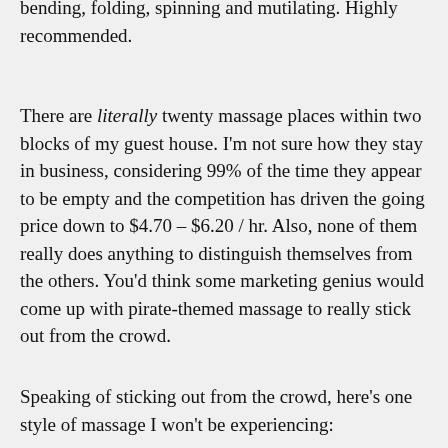bending, folding, spinning and mutilating. Highly recommended.
There are literally twenty massage places within two blocks of my guest house. I'm not sure how they stay in business, considering 99% of the time they appear to be empty and the competition has driven the going price down to $4.70 – $6.20 / hr. Also, none of them really does anything to distinguish themselves from the others. You'd think some marketing genius would come up with pirate-themed massage to really stick out from the crowd.
Speaking of sticking out from the crowd, here's one style of massage I won't be experiencing: